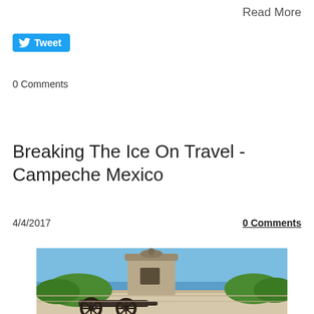Read More
[Figure (other): Twitter Tweet button with bird icon]
0 Comments
Breaking The Ice On Travel - Campeche Mexico
4/4/2017
0 Comments
[Figure (photo): Photo of a historic stone fortress/fort in Campeche, Mexico showing a sentry box tower, a cannon on a wheeled carriage in the foreground, green trees, and the blue sea/sky in the background.]